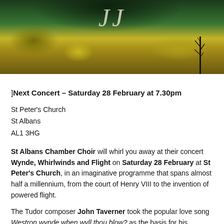[Figure (photo): Landscape photo showing rolling hills with green and yellow fields, dark sky/mountains in background, with decorative cursive script text overlay and a bare tree silhouette on the right]
]Next Concert – Saturday 28 February at 7.30pm
St Peter's Church
St Albans
AL1 3HG
St Albans Chamber Choir will whirl you away at their concert Wynde, Whirlwinds and Flight on Saturday 28 February at St Peter's Church, in an imaginative programme that spans almost half a millennium, from the court of Henry VIII to the invention of powered flight.
The Tudor composer John Taverner took the popular love song Westron wynde when wyll thou blow? as the basis for his Western Wynde Mass. Despite using the